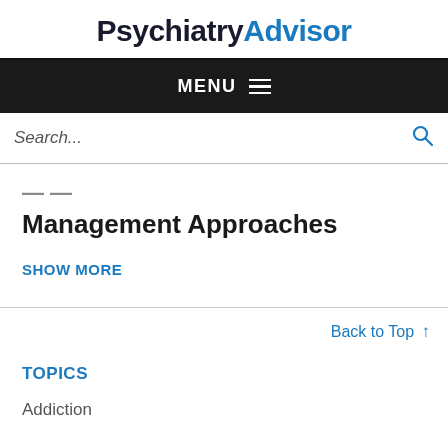PsychiatryAdvisor
MENU
Search...
Management Approaches
SHOW MORE
Back to Top ↑
TOPICS
Addiction